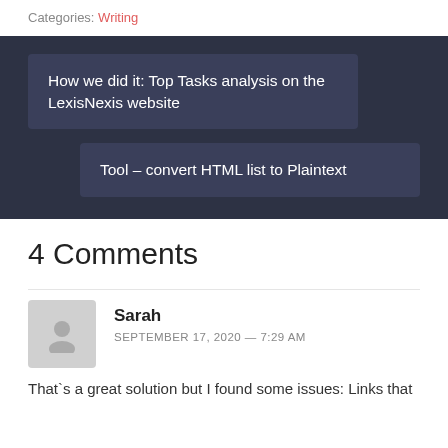Categories: Writing
How we did it: Top Tasks analysis on the LexisNexis website
Tool – convert HTML list to Plaintext
4 Comments
Sarah
SEPTEMBER 17, 2020 — 7:29 AM
That`s a great solution but I found some issues: Links that